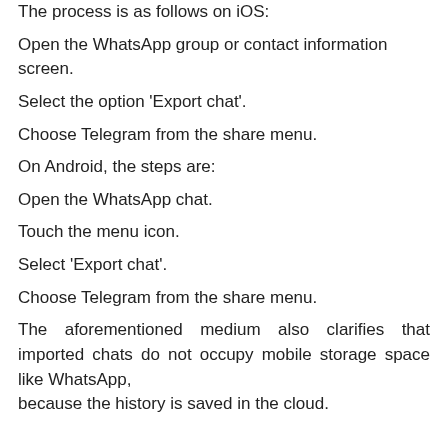The process is as follows on iOS:
Open the WhatsApp group or contact information screen.
Select the option 'Export chat'.
Choose Telegram from the share menu.
On Android, the steps are:
Open the WhatsApp chat.
Touch the menu icon.
Select 'Export chat'.
Choose Telegram from the share menu.
The aforementioned medium also clarifies that imported chats do not occupy mobile storage space like WhatsApp, because the history is saved in the cloud.